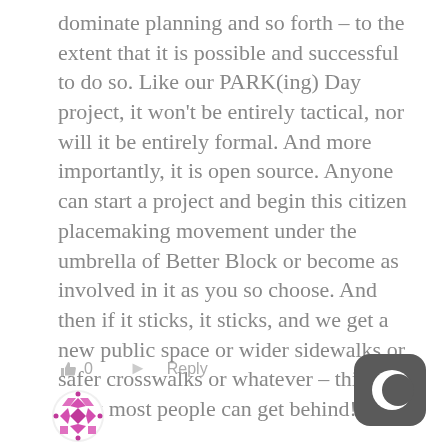dominate planning and so forth – to the extent that it is possible and successful to do so. Like our PARK(ing) Day project, it won't be entirely tactical, nor will it be entirely formal. And more importantly, it is open source. Anyone can start a project and begin this citizen placemaking movement under the umbrella of Better Block or become as involved in it as you so choose. And then if it sticks, it sticks, and we get a new public space or wider sidewalks or safer crosswalks or whatever – things I think most people can get behind!
👍 0   ➤ Reply
[Figure (illustration): Purple/pink decorative avatar icon with geometric quilt-like pattern]
[Figure (logo): Dark gray rounded square with white crescent moon 'C' logo]